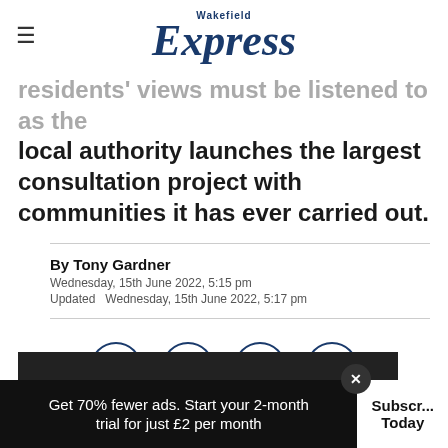Wakefield Express
residents' views must be listened to as the local authority launches the largest consultation project with communities it has ever carried out.
By Tony Gardner
Wednesday, 15th June 2022, 5:15 pm
Updated  Wednesday, 15th June 2022, 5:17 pm
[Figure (infographic): Social sharing icons: Facebook, Twitter, WhatsApp, Email — all in dark blue circle outlines]
Get 70% fewer ads. Start your 2-month trial for just £2 per month